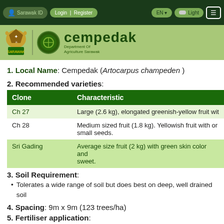Sarawak ID | Login | Register | EN | Light
[Figure (logo): Sarawak coat of arms logo and Department of Agriculture Sarawak logo with site title 'cempedak']
1. Local Name: Cempedak (Artocarpus champeden)
2. Recommended varieties:
| Clone | Characteristic |
| --- | --- |
| Ch 27 | Large (2.6 kg), elongated greenish-yellow fruit wit |
| Ch 28 | Medium sized fruit (1.8 kg). Yellowish fruit with or small seeds. |
| Sri Gading | Average size fruit (2 kg) with green skin color and sweet. |
3. Soil Requirement:
Tolerates a wide range of soil but does best on deep, well drained soil
4. Spacing: 9m x 9m (123 trees/ha)
5. Fertiliser application:
| Year | Time of application | Type of fertiliser | Amou Year |
| --- | --- | --- | --- |